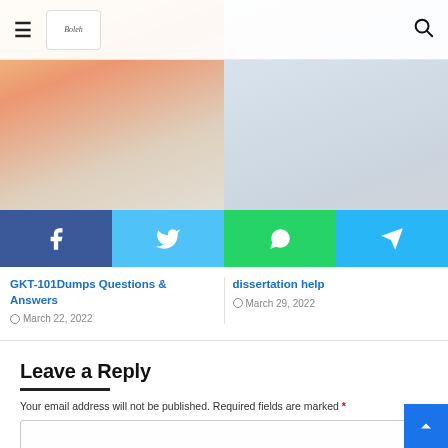≡ [Logo] 🔍
[Figure (screenshot): Two blog post thumbnail images side by side with faded overlay — left shows colorful gaming/education scene, right shows person at laptop]
[Figure (infographic): Social sharing button bar with Facebook (blue), Twitter (light blue), WhatsApp (green), Telegram (cyan) icons]
GKT-101Dumps Questions & Answers
March 22, 2022
dissertation help
March 29, 2022
Leave a Reply
Your email address will not be published. Required fields are marked *
[Comment text area]